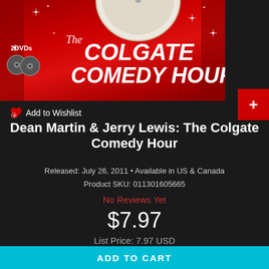[Figure (illustration): DVD product cover art for The Colgate Comedy Hour - red background with sparkles, two DVD discs shown, large bold italic white text reading 'The COLGATE COMEDY HOUR', red curtain borders]
Add to Wishlist
Dean Martin & Jerry Lewis: The Colgate Comedy Hour
Released: July 26, 2011 • Available in US & Canada
Product SKU: 011301605665
No Reviews Yet
$7.97
List Price: 7.97 USD
ADD TO CART